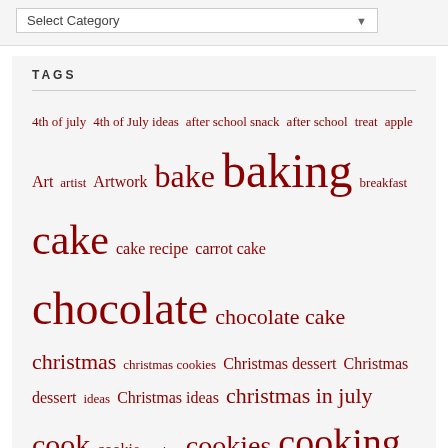Select Category
TAGS
4th of july 4th of July ideas after school snack after school treat apple Art artist Artwork bake baking breakfast cake cake recipe carrot cake chocolate chocolate cake christmas christmas cookies Christmas dessert Christmas dessert ideas Christmas ideas christmas in july cook cookie recipe cookies cooking cupcake recipe cupcakes dessert dessert ideas dessert recipe Disabled Artists easter easter ideas easy recipe food